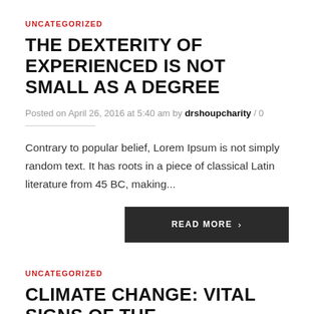UNCATEGORIZED
THE DEXTERITY OF EXPERIENCED IS NOT SMALL AS A DEGREE
Posted on April 26, 2016 at 5:40 am by drshoupcharity / 0
Contrary to popular belief, Lorem Ipsum is not simply random text. It has roots in a piece of classical Latin literature from 45 BC, making...
READ MORE >
UNCATEGORIZED
CLIMATE CHANGE: VITAL SIGNS OF THE